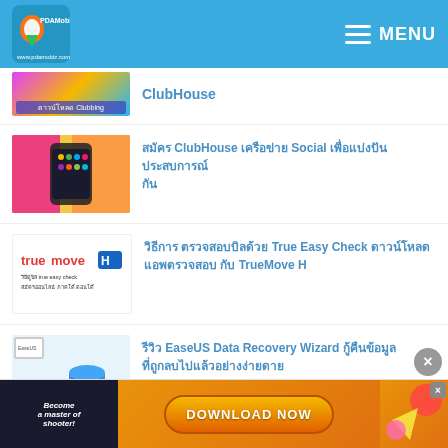PDAMobiz - MENU
ClubHouse
สมัคร ClubHouse เครือข่าย Social เพื่อแบ่งปันประสบการณ์
วิธีการ ตรวจสอบบิล True Easy Check ดาวน์โหลดแอพ เช็คบิล กับ TrueMove H
รีวิว EaseUS Data Recovery Wizard กู้คืนข้อมูล ที่ถูกลบไปแล้วอย่างง่ายดาย
[Figure (screenshot): Advertisement banner: Become a master of shooter - DOWNLOAD NOW]
Ad: Become a master of shooter - DOWNLOAD NOW